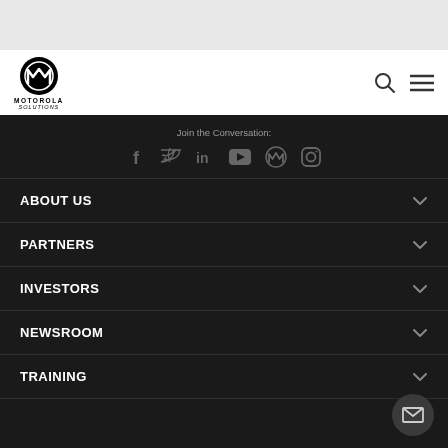[Figure (logo): Motorola Solutions logo with circular M emblem and text MOTOROLA SOLUTIONS]
Join the Conversation:
[Figure (illustration): Social media icons: Facebook, Twitter, LinkedIn, YouTube, Motorola, Instagram]
ABOUT US
PARTNERS
INVESTORS
NEWSROOM
TRAINING